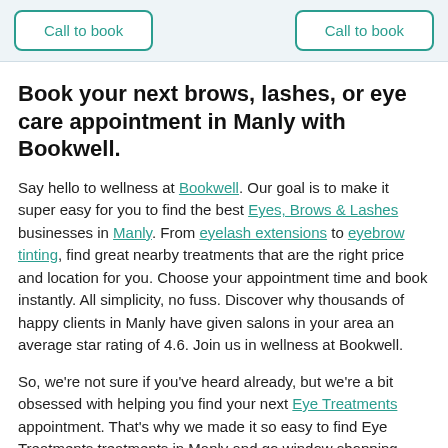[Figure (other): Top bar with two 'Call to book' buttons on light blue background]
Book your next brows, lashes, or eye care appointment in Manly with Bookwell.
Say hello to wellness at Bookwell. Our goal is to make it super easy for you to find the best Eyes, Brows & Lashes businesses in Manly. From eyelash extensions to eyebrow tinting, find great nearby treatments that are the right price and location for you. Choose your appointment time and book instantly. All simplicity, no fuss. Discover why thousands of happy clients in Manly have given salons in your area an average star rating of 4.6. Join us in wellness at Bookwell.
So, we're not sure if you've heard already, but we're a bit obsessed with helping you find your next Eye Treatments appointment. That's why we made it so easy to find Eye Treatments treatments in Manly and go window shopping